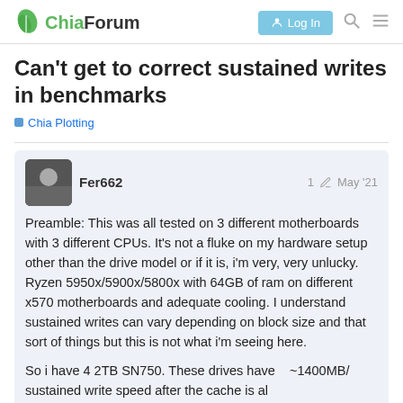ChiaForum — Log In
Can't get to correct sustained writes in benchmarks
Chia Plotting
Fer662  1  May '21
Preamble: This was all tested on 3 different motherboards with 3 different CPUs. It's not a fluke on my hardware setup other than the drive model or if it is, i'm very, very unlucky. Ryzen 5950x/5900x/5800x with 64GB of ram on different x570 motherboards and adequate cooling. I understand sustained writes can vary depending on block size and that sort of things but this is not what i'm seeing here.
So i have 4 2TB SN750. These drives have ~1400MB/s sustained write speed after the cache is all... the reviews say and I can measure that in...
1 / 3